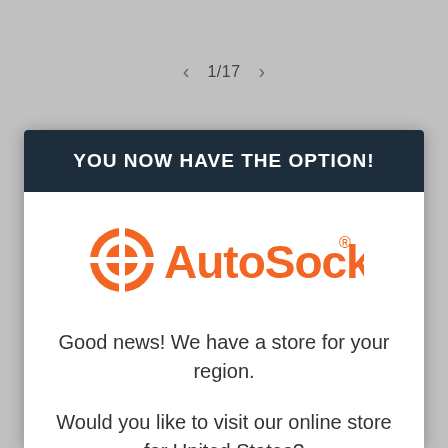< 1/17 >
YOU NOW HAVE THE OPTION!
[Figure (logo): AutoSock logo: orange circle with crosshair icon followed by orange 'AutoSock' wordmark with registered trademark symbol]
Good news! We have a store for your region.
Would you like to visit our online store for United States?